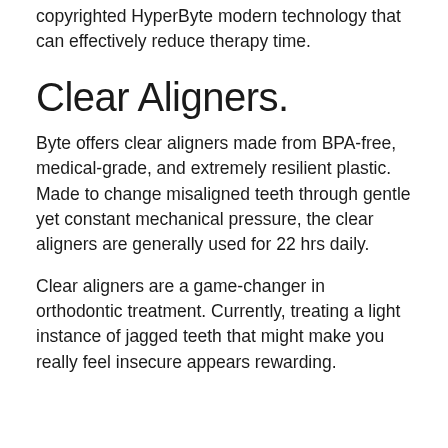copyrighted HyperByte modern technology that can effectively reduce therapy time.
Clear Aligners.
Byte offers clear aligners made from BPA-free, medical-grade, and extremely resilient plastic. Made to change misaligned teeth through gentle yet constant mechanical pressure, the clear aligners are generally used for 22 hrs daily.
Clear aligners are a game-changer in orthodontic treatment. Currently, treating a light instance of jagged teeth that might make you really feel insecure appears rewarding.